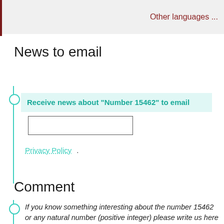Other languages ...
News to email
Receive news about "Number 15462" to email
Send   Privacy Policy.
Comment
If you know something interesting about the number 15462 or any natural number (positive integer) please write us here or on facebook.